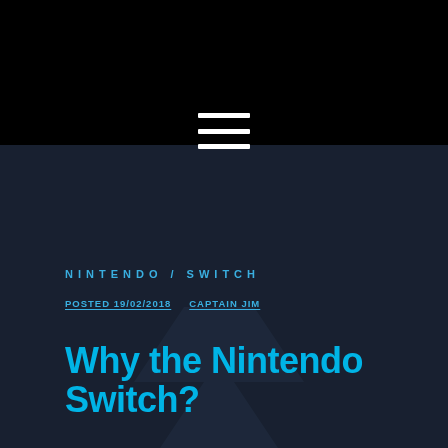[Figure (illustration): Dark header background with hamburger menu icon (three horizontal white lines) centered near the top]
NINTENDO / SWITCH
POSTED 19/02/2018   CAPTAIN JIM
Why the Nintendo Switch?